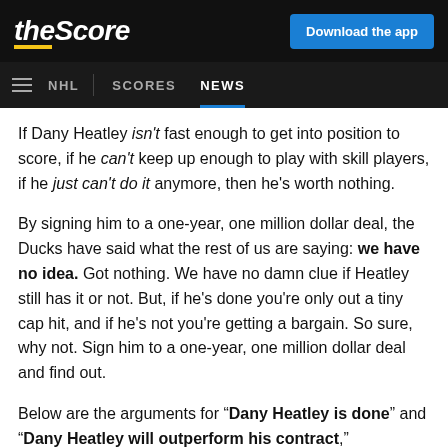theScore | Download the app
NHL | SCORES | NEWS
If Dany Heatley isn't fast enough to get into position to score, if he can't keep up enough to play with skill players, if he just can't do it anymore, then he's worth nothing.
By signing him to a one-year, one million dollar deal, the Ducks have said what the rest of us are saying: we have no idea. Got nothing. We have no damn clue if Heatley still has it or not. But, if he's done you're only out a tiny cap hit, and if he's not you're getting a bargain. So sure, why not. Sign him to a one-year, one million dollar deal and find out.
Below are the arguments for "Dany Heatley is done" and "Dany Heatley will outperform his contract,"